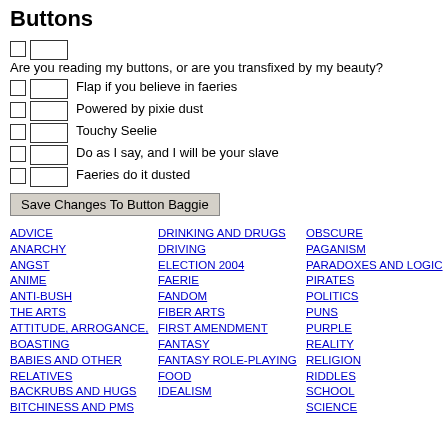Buttons
Are you reading my buttons, or are you transfixed by my beauty?
Flap if you believe in faeries
Powered by pixie dust
Touchy Seelie
Do as I say, and I will be your slave
Faeries do it dusted
Save Changes To Button Baggie
ADVICE
ANARCHY
ANGST
ANIME
ANTI-BUSH
THE ARTS
ATTITUDE, ARROGANCE, BOASTING
BABIES AND OTHER RELATIVES
BACKRUBS AND HUGS
BITCHINESS AND PMS
DRINKING AND DRUGS
DRIVING
ELECTION 2004
FAERIE
FANDOM
FIBER ARTS
FIRST AMENDMENT
FANTASY
FANTASY ROLE-PLAYING
FOOD
IDEALISM
OBSCURE
PAGANISM
PARADOXES AND LOGIC
PIRATES
POLITICS
PUNS
PURPLE
REALITY
RELIGION
RIDDLES
SCHOOL
SCIENCE